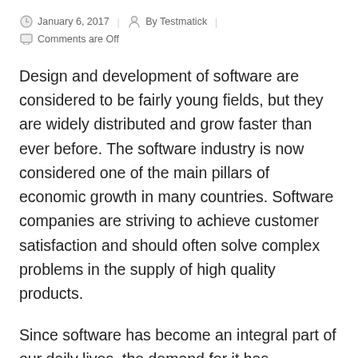January 6, 2017  |  By Testmatick  |  Comments are Off
Design and development of software are considered to be fairly young fields, but they are widely distributed and grow faster than ever before. The software industry is now considered one of the main pillars of economic growth in many countries. Software companies are striving to achieve customer satisfaction and should often solve complex problems in the supply of high quality products.
Since software has become an integral part of our daily lives, the demand for it has increased significantly. Today, high quality is